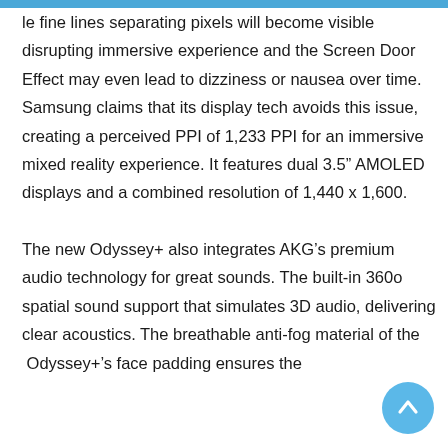...play, the fine lines separating pixels will become visible disrupting immersive experience and the Screen Door Effect may even lead to dizziness or nausea over time. Samsung claims that its display tech avoids this issue, creating a perceived PPI of 1,233 PPI for an immersive mixed reality experience. It features dual 3.5″ AMOLED displays and a combined resolution of 1,440 x 1,600.

The new Odyssey+ also integrates AKG's premium audio technology for great sounds. The built-in 360o spatial sound support that simulates 3D audio, delivering clear acoustics. The breathable anti-fog material of the Odyssey+'s face padding ensures the